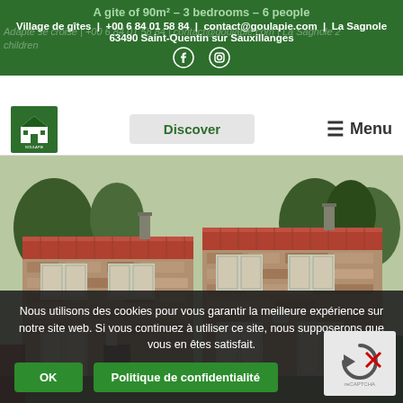A gite of 90m² – 3 bedrooms – 6 people
Village de gîtes | +00 6 84 01 58 84 | contact@goulapie.com | La Sagnole 63490 Saint-Quentin sur Sauxillanges
[Figure (logo): Goulapie village de gites logo - green square with house icon]
[Figure (photo): Exterior photo of a traditional French stone gite building with terracotta roof tiles and white shuttered windows]
Nous utilisons des cookies pour vous garantir la meilleure expérience sur notre site web. Si vous continuez à utiliser ce site, nous supposerons que vous en êtes satisfait.
OK
Politique de confidentialité